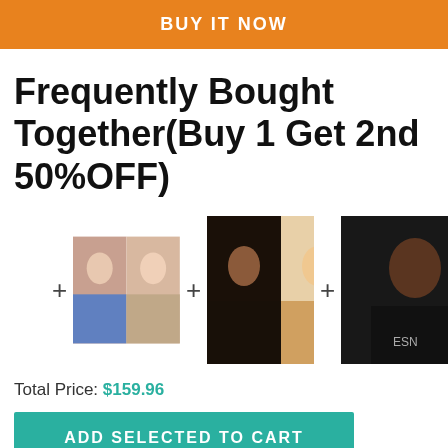BUY IT NOW
Frequently Bought Together(Buy 1 Get 2nd 50%OFF)
[Figure (photo): Three product collage photos of women with braided/styled hair, separated by plus signs]
Total Price: $159.96
ADD SELECTED TO CART